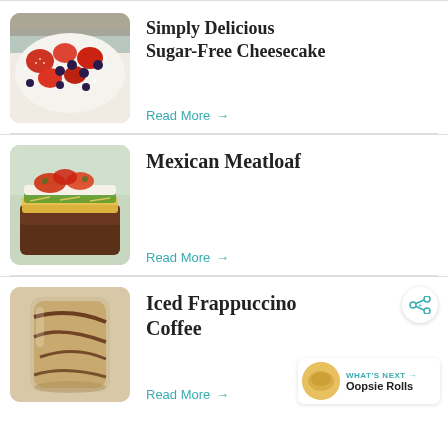[Figure (photo): Cheesecake with strawberries and blueberries on top]
Simply Delicious Sugar-Free Cheesecake
Read More →
[Figure (photo): Mexican meatloaf slice topped with cheese, lettuce, tomatoes]
Mexican Meatloaf
Read More →
[Figure (photo): Iced frappuccino coffee drink with chocolate drizzle]
Iced Frappuccino Coffee
Read More →
WHAT'S NEXT → Oopsie Rolls